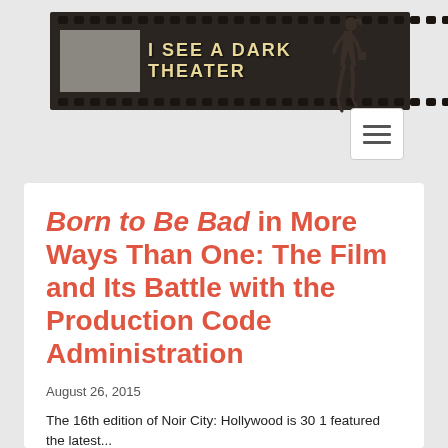[Figure (logo): Film strip banner logo reading 'I SEE A DARK THEATER' with a dark brown/black film strip design, grey block on left, golden/cream lettering, and a silhouette figure of a woman on the right end of the strip.]
Born to Be Bad in More Ways Than One: The Film and Its Battle with the Production Code Administration
August 26, 2015
The 16th edition of Noir City: Hollywood is 30 1 featured the latest...